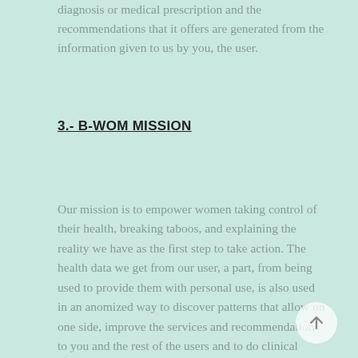diagnosis or medical prescription and the recommendations that it offers are generated from the information given to us by you, the user.
3.- B-WOM MISSION
Our mission is to empower women taking control of their health, breaking taboos, and explaining the reality we have as the first step to take action. The health data we get from our user, a part, from being used to provide them with personal use, is also used in an anomized way to discover patterns that allow on one side, improve the services and recommendations to you and the rest of the users and to do clinical studies to set new patterns, not settled before.